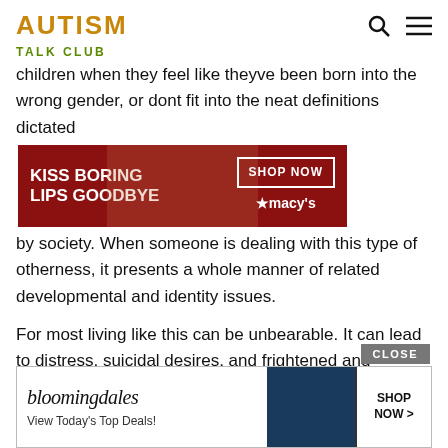AUTISM
TALK CLUB
children when they feel like theyve been born into the wrong gender, or dont fit into the neat definitions dictated by soc[iety]. When someone is dealing with this type of otherness, it presents a whole manner of related developmental and identity issues.
[Figure (photo): Macy's advertisement banner: woman with red lipstick, text 'KISS BORING LIPS GOODBYE' and 'SHOP NOW' button with Macy's star logo]
For most living like this can be unbearable. It can lead to distress, suicidal desires, and frightened and desperate parents. And there are no easy solutions potentially life-changing decisions about transitioning into your chosen gender at a young age, and the medical interventions that follow, are very complicated.
[Figure (photo): Bloomingdale's advertisement banner: logo text 'bloomingdales', 'View Today's Top Deals!', woman in blue hat, 'SHOP NOW >' button, with CLOSE button above]